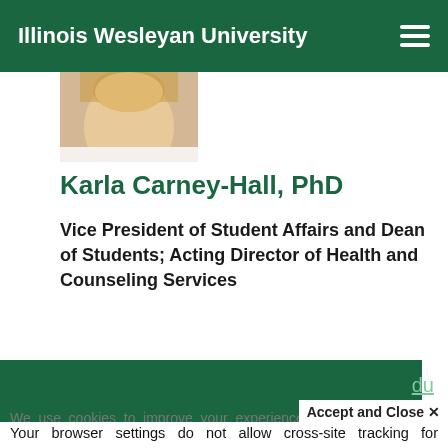Illinois Wesleyan University
[Figure (photo): Partial photo of a woman with blonde hair, cropped at top]
Karla Carney-Hall, PhD
Vice President of Student Affairs and Dean of Students; Acting Director of Health and Counseling Services
du
We use cookies to improve your experience on our website. By continuing to use our site...
Accept and Close ✕
Your browser settings do not allow cross-site tracking for advertising. Click on this page to allow AdRoll to use cross-site tracking to tailor ads to you. Learn more or opt out of this AdRoll tracking by clicking here. This message only appears once.